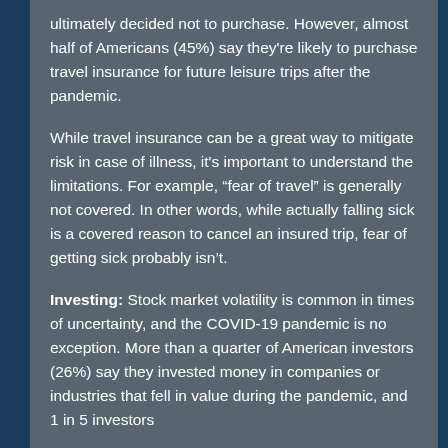ultimately decided not to purchase. However, almost half of Americans (45%) say they're likely to purchase travel insurance for future leisure trips after the pandemic.
While travel insurance can be a great way to mitigate risk in case of illness, it's important to understand the limitations. For example, “fear of travel” is generally not covered. In other words, while actually falling sick is a covered reason to cancel an insured trip, fear of getting sick probably isn’t.
Investing: Stock market volatility is common in times of uncertainty, and the COVID-19 pandemic is no exception. More than a quarter of American investors (26%) say they invested money in companies or industries that fell in value during the pandemic, and 1 in 5 investors